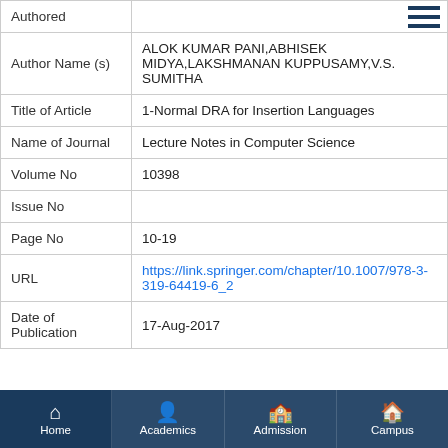| Field | Value |
| --- | --- |
| Authored |  |
| Author Name (s) | ALOK KUMAR PANI,ABHISEK MIDYA,LAKSHMANAN KUPPUSAMY,V.S. SUMITHA |
| Title of Article | 1-Normal DRA for Insertion Languages |
| Name of Journal | Lecture Notes in Computer Science |
| Volume No | 10398 |
| Issue No |  |
| Page No | 10-19 |
| URL | https://link.springer.com/chapter/10.1007/978-3-319-64419-6_2 |
| Date of Publication | 17-Aug-2017 |
Home | Academics | Admission | Campus